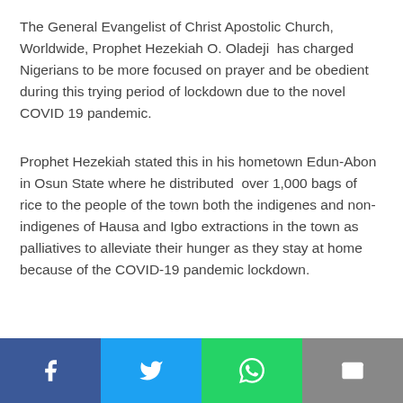The General Evangelist of Christ Apostolic Church, Worldwide, Prophet Hezekiah O. Oladeji has charged Nigerians to be more focused on prayer and be obedient during this trying period of lockdown due to the novel COVID 19 pandemic.
Prophet Hezekiah stated this in his hometown Edun-Abon in Osun State where he distributed over 1,000 bags of rice to the people of the town both the indigenes and non-indigenes of Hausa and Igbo extractions in the town as palliatives to alleviate their hunger as they stay at home because of the COVID-19 pandemic lockdown.